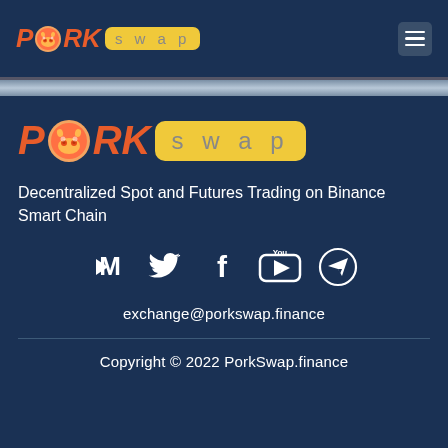[Figure (logo): PorkSwap logo in navigation bar - PORK text in orange italic bold with pig emoji icon, swap in yellow rounded box]
[Figure (logo): PorkSwap large logo - PORK text in orange italic bold with pig emoji icon, swap in yellow rounded box]
Decentralized Spot and Futures Trading on Binance Smart Chain
[Figure (infographic): Row of social media icons: Medium (M), Twitter (bird), Facebook (f), YouTube, Telegram (paper plane arrow)]
exchange@porkswap.finance
Copyright © 2022 PorkSwap.finance